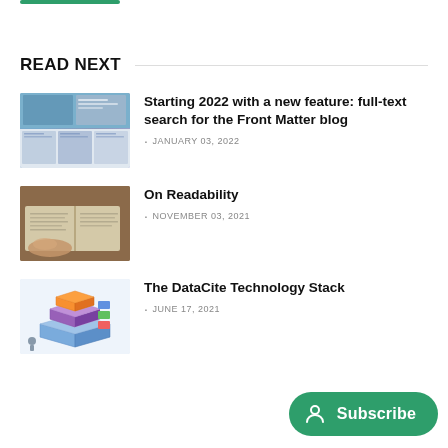READ NEXT
[Figure (screenshot): Thumbnail for article: Starting 2022 with a new feature – shows a grid of document/blog screenshots]
Starting 2022 with a new feature: full-text search for the Front Matter blog
· JANUARY 03, 2022
[Figure (photo): Thumbnail for article: On Readability – shows hands flipping through pages of a book on a wooden table]
On Readability
· NOVEMBER 03, 2021
[Figure (illustration): Thumbnail for article: The DataCite Technology Stack – isometric tech stack diagram with coloured blocks]
The DataCite Technology Stack
· JUNE 17, 2021